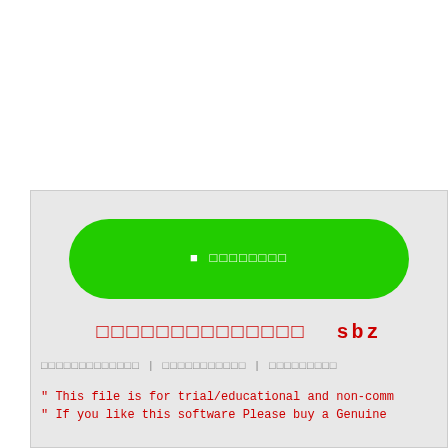[Figure (screenshot): Green rounded pill-shaped button with white text containing Thai/unknown script characters]
□□□□□□□□□□□□□□  sbz
□□□□□□□□□□□□□ | □□□□□□□□□□□ | □□□□□□□□□
" This file is for trial/educational and non-comm
" If you like this software Please buy a Genuine